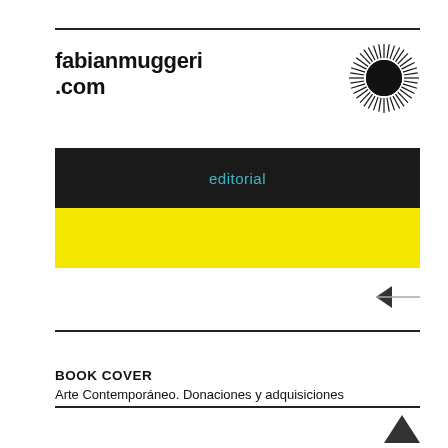fabianmuggeri.com
editorial
[Figure (illustration): Sunburst/starburst black radial logo icon in top right corner]
[Figure (illustration): Left-pointing arrow navigation icon]
BOOK COVER
Arte Contemporáneo. Donaciones y adquisiciones
[Figure (illustration): Up-pointing arrow navigation icon]